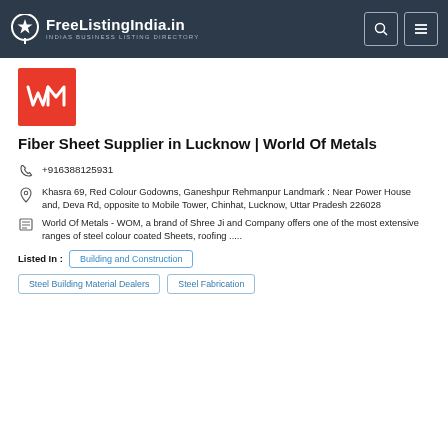FreeListingIndia.in — INDIAS BUSINESS LISTING DIRECTORY
[Figure (logo): World Of Metals (WM) red square logo]
Fiber Sheet Supplier in Lucknow | World Of Metals
+916388125931
Khasra 69, Red Colour Godowns, Ganeshpur Rehmanpur Landmark : Near Power House and, Deva Rd, opposite to Mobile Tower, Chinhat, Lucknow, Uttar Pradesh 226028
World Of Metals - WOM, a brand of Shree Ji and Company offers one of the most extensive ranges of steel colour coated Sheets, roofing .....
Listed In : Building and Construction
Steel Building Material Dealers
Steel Fabrication